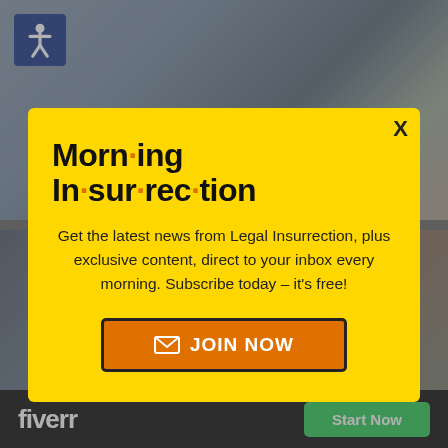[Figure (screenshot): Background webpage with photo of people hugging, accessibility icon top-left, dimmed by modal overlay]
[Figure (screenshot): Modal popup with yellow background: Morning Insurrection newsletter signup. Title: 'Morn·ing In·sur·rec·tion'. Body: 'Get the latest news from Legal Insurrection, plus exclusive content, direct to your inbox every morning. Subscribe today – it's free!' with JOIN NOW button.]
[Figure (screenshot): Fiverr advertisement bar at bottom: black background with 'fiverr' logo in white and green 'Start Now' button]